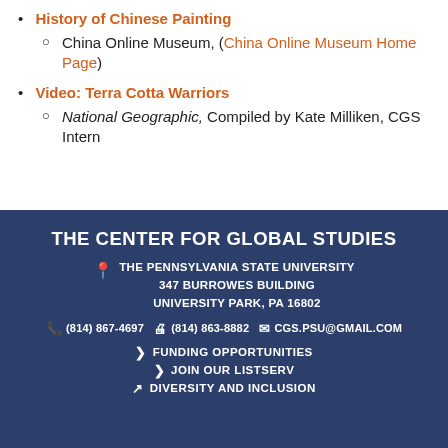History of Chinese Painting
China Online Museum, (China Online Museum Home Page)
Video: Terra Cotta Warriors
National Geographic, Compiled by Kate Milliken, CGS Intern
THE CENTER FOR GLOBAL STUDIES
THE PENNSYLVANIA STATE UNIVERSITY
347 BURROWES BUILDING
UNIVERSITY PARK, PA 16802
(814) 867-4697  (814) 863-8882  CGS.PSU@GMAIL.COM
FUNDING OPPORTUNITIES
JOIN OUR LISTSERV
DIVERSITY AND INCLUSION